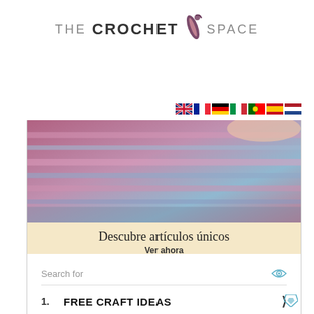THE CROCHET SPACE
[Figure (logo): The Crochet Space logo with stylized crochet hook icon between CROCHET and SPACE text]
[Figure (infographic): Row of country flag emoji icons: UK, France, Germany, Italy, Portugal, Spain, Netherlands]
[Figure (photo): Advertisement showing a person wearing a pink and blue crocheted garment. Banner text reads: Descubre artículos únicos / Ver ahora]
Search for
1. FREE CRAFT IDEAS
2. CRAFT PROJECTS TO MAKE